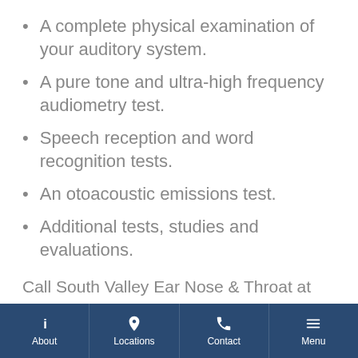A complete physical examination of your auditory system.
A pure tone and ultra-high frequency audiometry test.
Speech reception and word recognition tests.
An otoacoustic emissions test.
Additional tests, studies and evaluations.
Call South Valley Ear Nose & Throat at (801) 566-8304 for more information or to schedule an appointment.
About | Locations | Contact | Menu